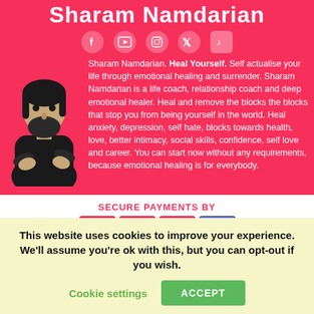Sharam Namdarian
[Figure (illustration): Black and white illustration of Sharam Namdarian]
Sharam Namdarian. Heal Yourself. Self actualise your life through emotional healing and surrender. Sharam Namdarian is a life coach, relationship coach and deep emotional healer. Heal and remove the blocks the blocks that stop you from being yourself in the world. Heal anxiety, depression, self hate, blocks towards health, love, better intimacy, social skills, confidence, self love and career. You can start now without any requirements, because emotional healing is for everybody.
[Figure (infographic): Secure payments by VISA, Mastercard, PayPal, Stripe. All prices in AUD.]
Important Note: I have personally coached hundreds of people world wide, but if there is one big piece of advice I have to say it is this: "None of this will work, unless you do." That being said, the advice and programs I give is tailored for the best
This website uses cookies to improve your experience. We'll assume you're ok with this, but you can opt-out if you wish.
Cookie settings  ACCEPT